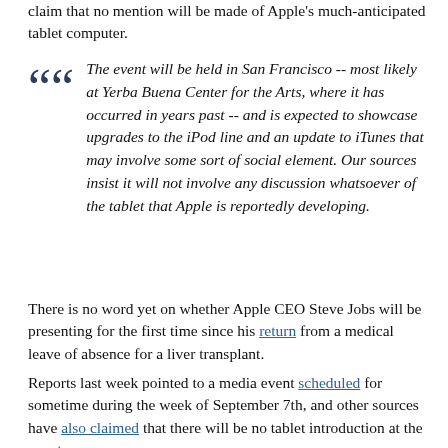claim that no mention will be made of Apple's much-anticipated tablet computer.
The event will be held in San Francisco -- most likely at Yerba Buena Center for the Arts, where it has occurred in years past -- and is expected to showcase upgrades to the iPod line and an update to iTunes that may involve some sort of social element. Our sources insist it will not involve any discussion whatsoever of the tablet that Apple is reportedly developing.
There is no word yet on whether Apple CEO Steve Jobs will be presenting for the first time since his return from a medical leave of absence for a liver transplant.
Reports last week pointed to a media event scheduled for sometime during the week of September 7th, and other sources have also claimed that there will be no tablet introduction at the event.